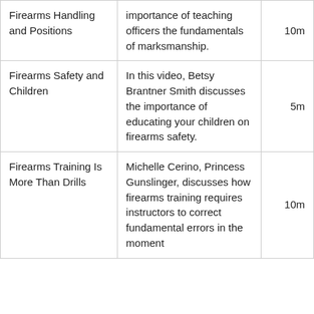| Title | Description | Duration |
| --- | --- | --- |
| Firearms Handling and Positions | importance of teaching officers the fundamentals of marksmanship. | 10m |
| Firearms Safety and Children | In this video, Betsy Brantner Smith discusses the importance of educating your children on firearms safety. | 5m |
| Firearms Training Is More Than Drills | Michelle Cerino, Princess Gunslinger, discusses how firearms training requires instructors to correct fundamental errors in the moment | 10m |